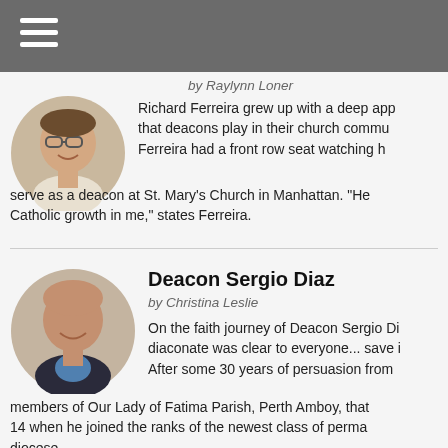by Raylynn Loner
[Figure (photo): Circular headshot photo of a man with glasses, smiling, wearing a light-colored shirt]
Richard Ferreira grew up with a deep appreciation for the role that deacons play in their church communities. Ferreira had a front row seat watching his father serve as a deacon at St. Mary's Church in Manhattan. "He nourished my Catholic growth in me," states Ferreira.
[Figure (photo): Circular headshot photo of a bald man smiling, wearing a dark suit jacket and blue shirt]
Deacon Sergio Diaz
by Christina Leslie
On the faith journey of Deacon Sergio Diaz, his call to the diaconate was clear to everyone... save himself. After some 30 years of persuasion from his fellow members of Our Lady of Fatima Parish, Perth Amboy, that finally changed in '14 when he joined the ranks of the newest class of permanent deacons of the diocese.